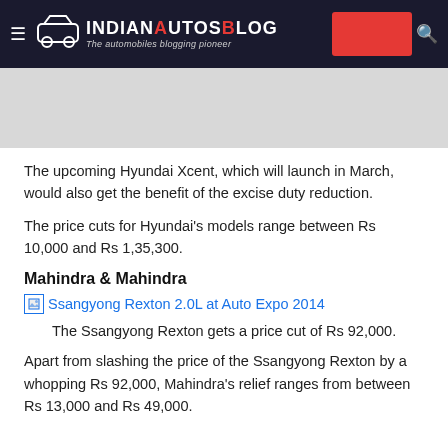IndianAutosBlog - The automobiles blogging pioneer
[Figure (photo): Hero image placeholder - grey background]
The upcoming Hyundai Xcent, which will launch in March, would also get the benefit of the excise duty reduction.
The price cuts for Hyundai's models range between Rs 10,000 and Rs 1,35,300.
Mahindra & Mahindra
[Figure (photo): Ssangyong Rexton 2.0L at Auto Expo 2014 - image link]
The Ssangyong Rexton gets a price cut of Rs 92,000.
Apart from slashing the price of the Ssangyong Rexton by a whopping Rs 92,000, Mahindra's relief ranges from between Rs 13,000 and Rs 49,000.